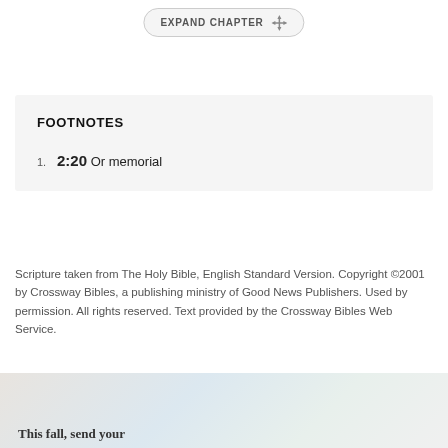[Figure (other): EXPAND CHAPTER button with move/expand icon]
FOOTNOTES
2:20 Or memorial
Scripture taken from The Holy Bible, English Standard Version. Copyright ©2001 by Crossway Bibles, a publishing ministry of Good News Publishers. Used by permission. All rights reserved. Text provided by the Crossway Bibles Web Service.
[Figure (photo): Partially visible promotional image with text 'This fall, send your...']